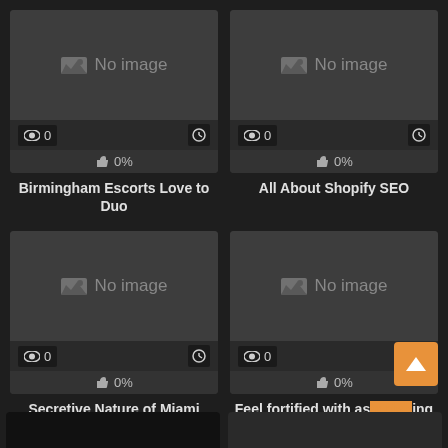[Figure (screenshot): Card with 'No image' placeholder, 0 views, 0% likes]
Birmingham Escorts Love to Duo
[Figure (screenshot): Card with 'No image' placeholder, 0 views, 0% likes]
All About Shopify SEO
[Figure (screenshot): Card with 'No image' placeholder, 0 views, 0% likes]
Secretive Nature of Miami Escorts
[Figure (screenshot): Card with 'No image' placeholder, 0 views, 0% likes]
Feel fortified with astonishing Memphis gi...